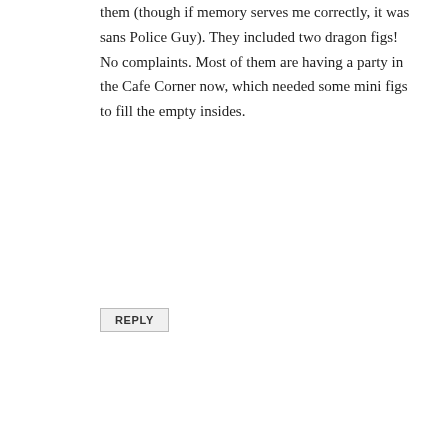them (though if memory serves me correctly, it was sans Police Guy). They included two dragon figs! No complaints. Most of them are having a party in the Cafe Corner now, which needed some mini figs to fill the empty insides.
REPLY
Tim says
July 30, 2018 at 11:32 PM
Good to hear you're in a better job and a better head space Jay.
I've never really been that interested in collecting CMF's. The first time I ever picked picked up a random bag I ended up with the Ninjago Movie